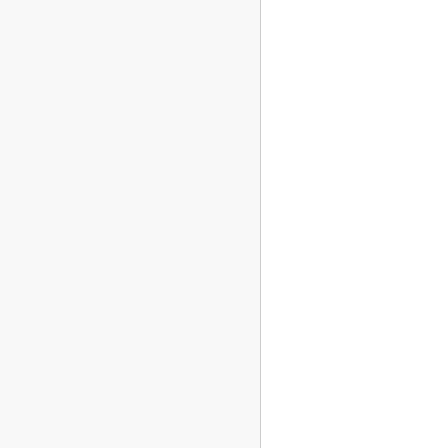of the Prime Minister of Thailand [external link]
website of the Prime Minister of Trinidad and Tobago [external link]